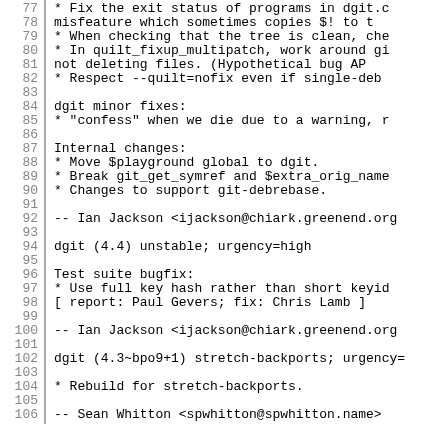Lines 77-106 of a debian changelog file showing dgit package entries
77  * Fix the exit status of programs in dgit.c
78    misfeature which sometimes copies $! to t
79  * When checking that the tree is clean, che
80  * In quilt_fixup_multipatch, work around gi
81    not deleting files.  (Hypothetical bug AP
82  * Respect --quilt=nofix even if single-deb
84    dgit minor fixes:
85  * "confess" when we die due to a warning, r
87    Internal changes:
88  * Move $playground global to dgit.
89  * Break git_get_symref and $extra_orig_name
90  * Changes to support git-debrebase.
92  -- Ian Jackson <ijackson@chiark.greenend.org
94 dgit (4.4) unstable; urgency=high
96    Test suite bugfix:
97  * Use full key hash rather than short keyid
98    [ report: Paul Gevers; fix: Chris Lamb ]
100  -- Ian Jackson <ijackson@chiark.greenend.org
102 dgit (4.3~bpo9+1) stretch-backports; urgency=
104  * Rebuild for stretch-backports.
106  -- Sean Whitton <spwhitton@spwhitton.name>